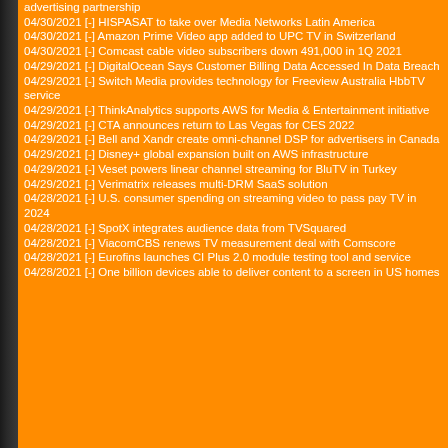advertising partnership
04/30/2021 [-] HISPASAT to take over Media Networks Latin America
04/30/2021 [-] Amazon Prime Video app added to UPC TV in Switzerland
04/30/2021 [-] Comcast cable video subscribers down 491,000 in 1Q 2021
04/29/2021 [-] DigitalOcean Says Customer Billing Data Accessed In Data Breach
04/29/2021 [-] Switch Media provides technology for Freeview Australia HbbTV service
04/29/2021 [-] ThinkAnalytics supports AWS for Media & Entertainment initiative
04/29/2021 [-] CTA announces return to Las Vegas for CES 2022
04/29/2021 [-] Bell and Xandr create omni-channel DSP for advertisers in Canada
04/29/2021 [-] Disney+ global expansion built on AWS infrastructure
04/29/2021 [-] Veset powers linear channel streaming for BluTV in Turkey
04/29/2021 [-] Verimatrix releases multi-DRM SaaS solution
04/28/2021 [-] U.S. consumer spending on streaming video to pass pay TV in 2024
04/28/2021 [-] SpotX integrates audience data from TVSquared
04/28/2021 [-] ViacomCBS renews TV measurement deal with Comscore
04/28/2021 [-] Eurofins launches CI Plus 2.0 module testing tool and service
04/28/2021 [-] One billion devices able to deliver content to a screen in US homes